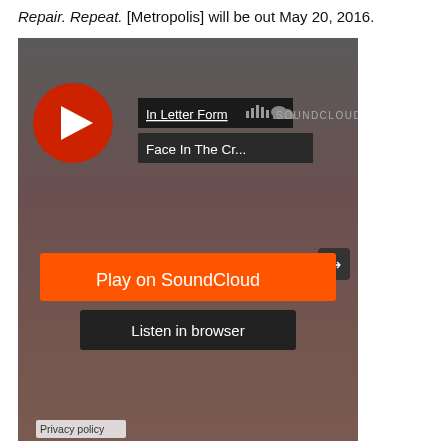Repair. Repeat. [Metropolis] will be out May 20, 2016.
[Figure (screenshot): SoundCloud embedded player widget showing 'In Letter Form' artist and 'Face In The Cr...' track, with a Play on SoundCloud orange button, a Listen in browser dark button, and a Privacy policy link at the bottom left. Background is a dark brownish-grey gradient.]